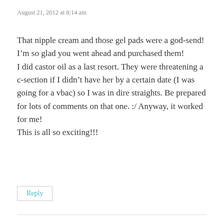August 21, 2012 at 8:14 am
That nipple cream and those gel pads were a god-send! I’m so glad you went ahead and purchased them!
I did castor oil as a last resort. They were threatening a c-section if I didn’t have her by a certain date (I was going for a vbac) so I was in dire straights. Be prepared for lots of comments on that one. :/ Anyway, it worked for me!
This is all so exciting!!!
Reply